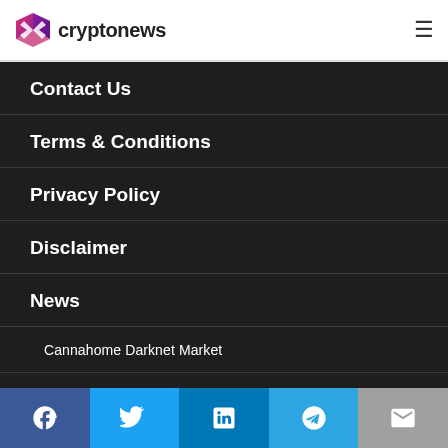cryptonews
Contact Us
Terms & Conditions
Privacy Policy
Disclaimer
News
Cannahome Darknet Market
Cannahome Link
Facebook | Twitter | LinkedIn | Telegram | Email